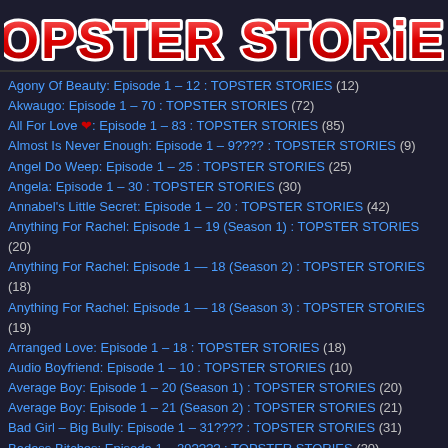TOPSTER STORIES
Agony Of Beauty: Episode 1 – 12 : TOPSTER STORIES (12)
Akwaugo: Episode 1 – 70 : TOPSTER STORIES (72)
All For Love ❤: Episode 1 – 83 : TOPSTER STORIES (85)
Almost Is Never Enough: Episode 1 – 9???? : TOPSTER STORIES (9)
Angel Do Weep: Episode 1 – 25 : TOPSTER STORIES (25)
Angela: Episode 1 – 30 : TOPSTER STORIES (30)
Annabel's Little Secret: Episode 1 – 20 : TOPSTER STORIES (42)
Anything For Rachel: Episode 1 – 19 (Season 1) : TOPSTER STORIES (20)
Anything For Rachel: Episode 1 — 18 (Season 2) : TOPSTER STORIES (18)
Anything For Rachel: Episode 1 — 18 (Season 3) : TOPSTER STORIES (19)
Arranged Love: Episode 1 – 18 : TOPSTER STORIES (18)
Audio Boyfriend: Episode 1 – 10 : TOPSTER STORIES (10)
Average Boy: Episode 1 – 20 (Season 1) : TOPSTER STORIES (20)
Average Boy: Episode 1 – 21 (Season 2) : TOPSTER STORIES (21)
Bad Girl – Big Bully: Episode 1 – 31???? : TOPSTER STORIES (31)
Badass Bitches: Episode 1 – 29???? : TOPSTER STORIES (30)
Baddest Girl: Episode 1 – 59???? : TOPSTER STORIES (59)